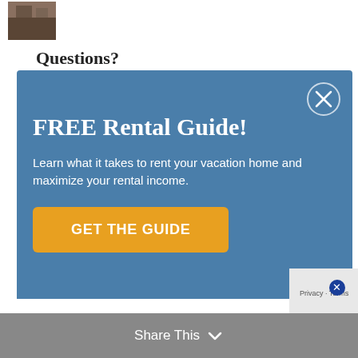[Figure (photo): Small thumbnail image, partial view of a building or room]
Questions?
[Figure (infographic): Blue modal popup overlay with close (X) button, title 'FREE Rental Guide!', body text 'Learn what it takes to rent your vacation home and maximize your rental income.', and an orange call-to-action button 'GET THE GUIDE']
Share This